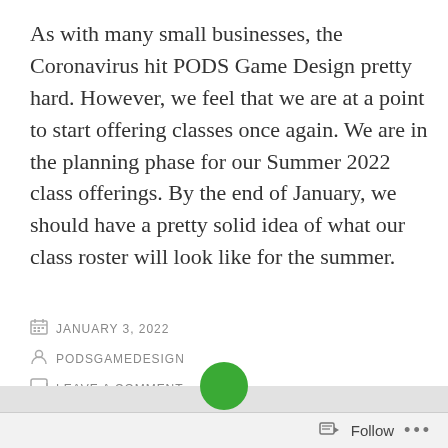As with many small businesses, the Coronavirus hit PODS Game Design pretty hard. However, we feel that we are at a point to start offering classes once again. We are in the planning phase for our Summer 2022 class offerings. By the end of January, we should have a pretty solid idea of what our class roster will look like for the summer.
JANUARY 3, 2022
PODSGAMEDESIGN
LEAVE A COMMENT
[Figure (other): Gray footer bar with a green circle button at the top center, and a Follow button with ellipsis at the bottom right]